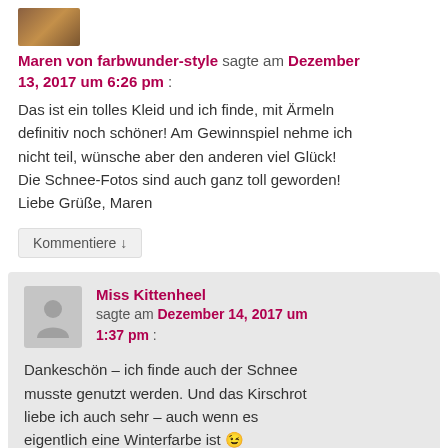[Figure (photo): Small avatar photo of Maren von farbwunder-style, partially visible at top]
Maren von farbwunder-style sagte am Dezember 13, 2017 um 6:26 pm :
Das ist ein tolles Kleid und ich finde, mit Ärmeln definitiv noch schöner! Am Gewinnspiel nehme ich nicht teil, wünsche aber den anderen viel Glück! Die Schnee-Fotos sind auch ganz toll geworden! Liebe Grüße, Maren
Kommentiere ↓
[Figure (illustration): Generic user avatar silhouette in grey box for Miss Kittenheel]
Miss Kittenheel sagte am Dezember 14, 2017 um 1:37 pm :
Dankeschön – ich finde auch der Schnee musste genutzt werden. Und das Kirschrot liebe ich auch sehr – auch wenn es eigentlich eine Winterfarbe ist 😉